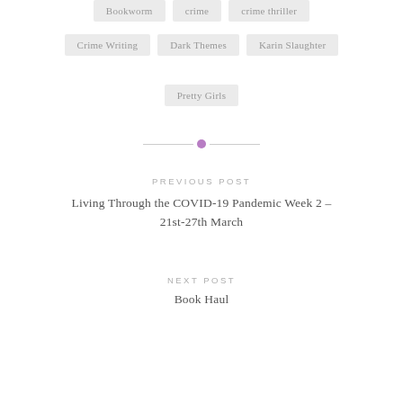Bookworm
crime
crime thriller
Crime Writing
Dark Themes
Karin Slaughter
Pretty Girls
PREVIOUS POST
Living Through the COVID-19 Pandemic Week 2 – 21st-27th March
NEXT POST
Book Haul